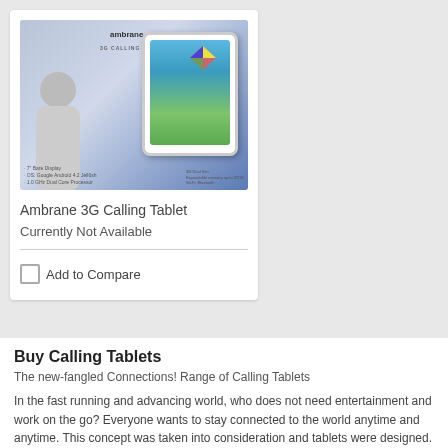[Figure (photo): Ambrane 3G Calling Tablet product image showing a tablet device with a person and kite imagery, brand logo at top]
Ambrane 3G Calling Tablet
Currently Not Available
Add to Compare
Buy Calling Tablets
The new-fangled Connections! Range of Calling Tablets
In the fast running and advancing world, who does not need entertainment and work on the go? Everyone wants to stay connected to the world anytime and anytime. This concept was taken into consideration and tablets were designed. And now they have gained